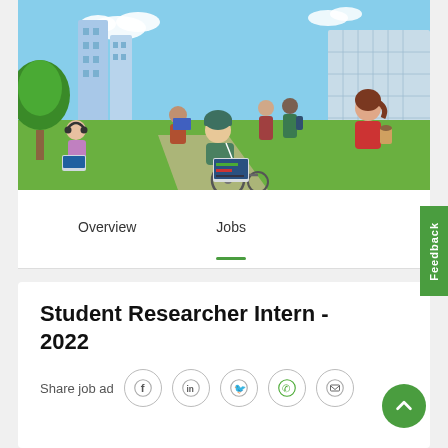[Figure (illustration): Colorful illustration of a park/campus scene with students. On the left, a girl with headphones sits under a tree using a laptop. In the middle, a person sits on grass reading a book. Center-foreground shows a wheelchair user with blonde hair and earbuds using a laptop. On the right, two people chat and a woman in red holds a coffee cup. City buildings and greenery in background.]
Overview
Jobs
Feedback
Student Researcher Intern - 2022
Share job ad